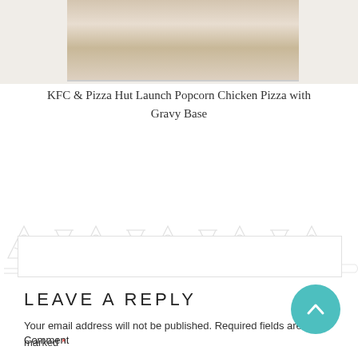[Figure (photo): Partial view of a pizza on a white surface, cropped at the top of the page]
KFC & Pizza Hut Launch Popcorn Chicken Pizza with Gravy Base
[Figure (illustration): Decorative repeating watermark pattern with pizza/food icons in light grey]
LEAVE A REPLY
Your email address will not be published. Required fields are marked *
Comment